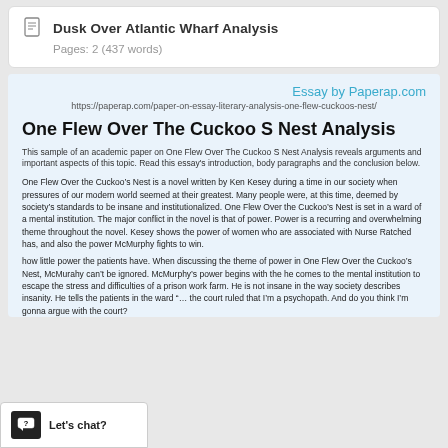Dusk Over Atlantic Wharf Analysis
Pages: 2 (437 words)
Essay by Paperap.com
https://paperap.com/paper-on-essay-literary-analysis-one-flew-cuckoos-nest/
One Flew Over The Cuckoo S Nest Analysis
This sample of an academic paper on One Flew Over The Cuckoo S Nest Analysis reveals arguments and important aspects of this topic. Read this essay's introduction, body paragraphs and the conclusion below.
One Flew Over the Cuckoo’s Nest is a novel written by Ken Kesey during a time in our society when pressures of our modern world seemed at their greatest. Many people were, at this time, deemed by society’s standards to be insane and institutionalized. One Flew Over the Cuckoo’s Nest is set in a ward of a mental institution. The major conflict in the novel is that of power. Power is a recurring and overwhelming theme throughout the novel. Kesey shows the power of women who are associated with Nurse Ratched has, and also the power McMurphy fights to win.
how little power the patients have. When discussing the theme of power in One Flew Over the Cuckoo’s Nest, McMurahy can’t be ignored. McMurphy’s power begins with the he comes to the mental institution to escape the stress and difficulties of a prison work farm. He is not insane in the way society describes insanity. He tells the patients in the ward “… the court ruled that I’m a psychopath. And do you think I’m gonna argue with the court?